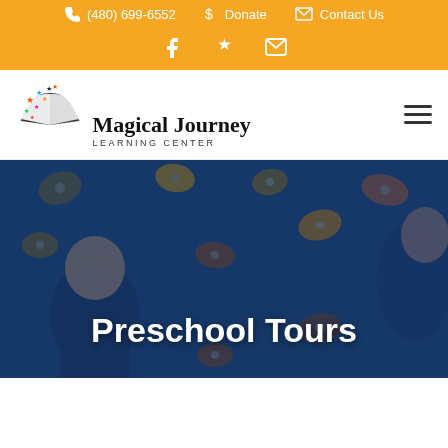(480) 699-6552   Donate   Contact Us
[Figure (logo): Magical Journey Learning Center logo with colorful stars and open book illustration]
Preschool Tours
[Figure (photo): Children climbing a blue rock wall with colorful climbing holds]